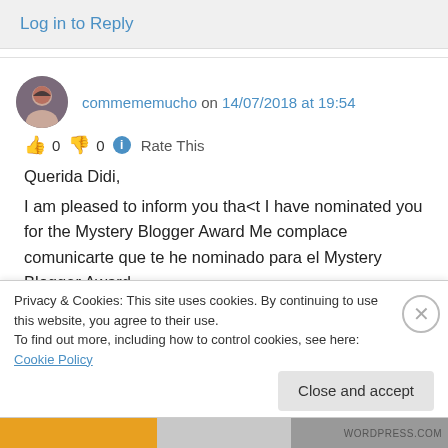Log in to Reply
commememucho on 14/07/2018 at 19:54
👍 0 👎 0 ℹ Rate This
Querida Didi,
I am pleased to inform you tha<t I have nominated you for the Mystery Blogger Award Me complace comunicarte que te he nominado para el Mystery Blogger Award.
Privacy & Cookies: This site uses cookies. By continuing to use this website, you agree to their use.
To find out more, including how to control cookies, see here: Cookie Policy
Close and accept